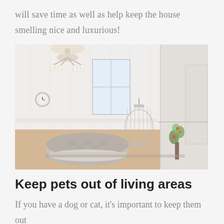will save time as well as help keep the house smelling nice and luxurious!
[Figure (photo): A bright, elegant white living room with a crystal chandelier, white walls, light wood floor, a round tufted silver/grey ottoman in the foreground, a decorative birdcage in the background, and a small green plant arrangement on the right.]
Keep pets out of living areas
If you have a dog or cat, it's important to keep them out